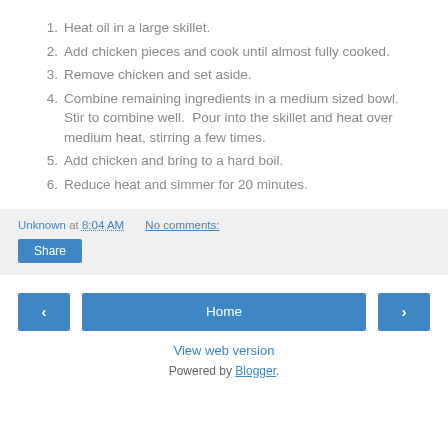1. Heat oil in a large skillet.
2. Add chicken pieces and cook until almost fully cooked.
3. Remove chicken and set aside.
4. Combine remaining ingredients in a medium sized bowl.  Stir to combine well.  Pour into the skillet and heat over medium heat, stirring a few times.
5. Add chicken and bring to a hard boil.
6. Reduce heat and simmer for 20 minutes.
Unknown at 8:04 AM   No comments:
Share
Home
View web version
Powered by Blogger.